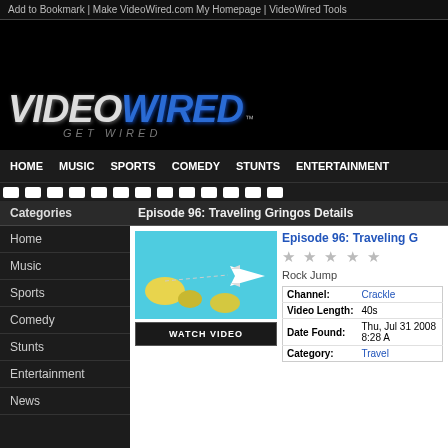Add to Bookmark | Make VideoWired.com My Homepage | VideoWired Tools
[Figure (other): Black advertisement banner area]
[Figure (logo): VideoWired logo with GET WIRED tagline on black background]
HOME | MUSIC | SPORTS | COMEDY | STUNTS | ENTERTAINMENT
Episode 96: Traveling Gringos Details
Categories
Home
Music
Sports
Comedy
Stunts
Entertainment
News
[Figure (screenshot): Video thumbnail showing cartoon map with airplane, teal background]
WATCH VIDEO
Episode 96: Traveling G
Rock Jump
| Key | Value |
| --- | --- |
| Channel: | Crackle |
| Video Length: | 40s |
| Date Found: | Thu, Jul 31 2008 8:28 A |
| Category: | Travel |